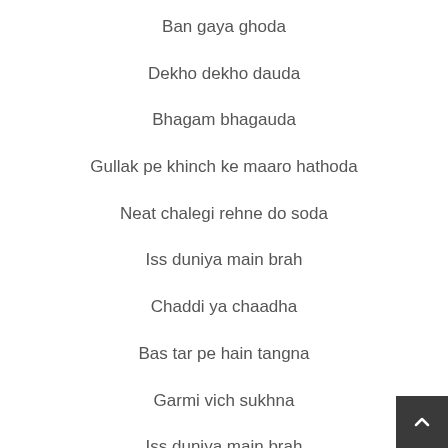Ban gaya ghoda
Dekho dekho dauda
Bhagam bhagauda
Gullak pe khinch ke maaro hathoda
Neat chalegi rehne do soda
Iss duniya main brah
Chaddi ya chaadha
Bas tar pe hain tangna
Garmi vich sukhna
Iss duniya main brah
Chaddi ya chaadha